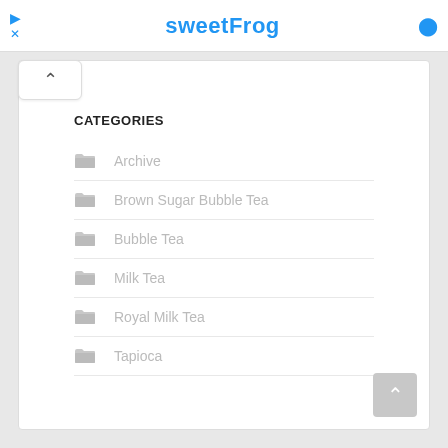sweetFrog
CATEGORIES
Archive
Brown Sugar Bubble Tea
Bubble Tea
Milk Tea
Royal Milk Tea
Tapioca